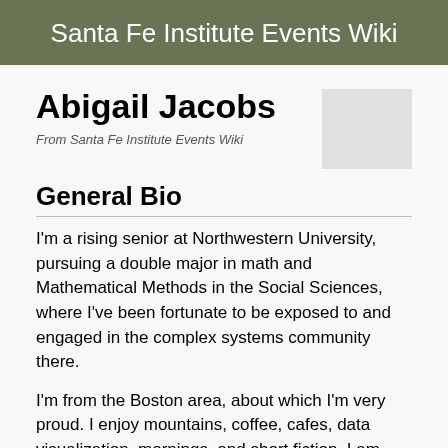Santa Fe Institute Events Wiki
Abigail Jacobs
From Santa Fe Institute Events Wiki
General Bio
I'm a rising senior at Northwestern University, pursuing a double major in math and Mathematical Methods in the Social Sciences, where I've been fortunate to be exposed to and engaged in the complex systems community there.
I'm from the Boston area, about which I'm very proud. I enjoy mountains, coffee, cafes, data visualization, mornings, and short fiction. I am also known to champion both computation and the interdisciplinary. After graduation, I'd like to go to graduate school to pursue a doctorate in complex systems; I've been fostering a